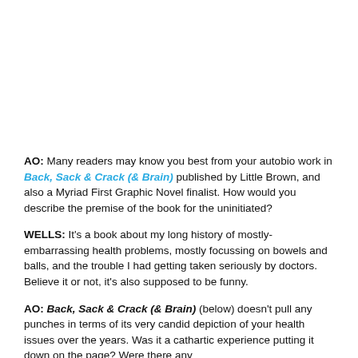AO: Many readers may know you best from your autobio work in Back, Sack & Crack (& Brain) published by Little Brown, and also a Myriad First Graphic Novel finalist. How would you describe the premise of the book for the uninitiated?
WELLS: It's a book about my long history of mostly-embarrassing health problems, mostly focussing on bowels and balls, and the trouble I had getting taken seriously by doctors. Believe it or not, it's also supposed to be funny.
AO: Back, Sack & Crack (& Brain) (below) doesn't pull any punches in terms of its very candid depiction of your health issues over the years. Was it a cathartic experience putting it down on the page? Were there any